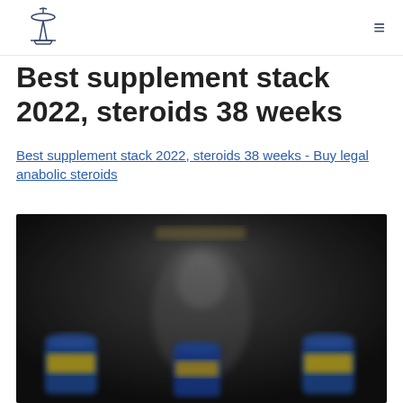[Logo: Space Needle icon] [Hamburger menu icon]
Best supplement stack 2022, steroids 38 weeks
Best supplement stack 2022, steroids 38 weeks - Buy legal anabolic steroids
[Figure (photo): Blurred dark promotional image showing supplement products with colorful packaging at the bottom and a blurred figure in the background]